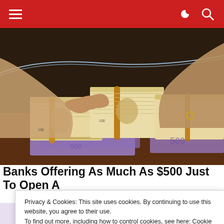Navigation header with hamburger menu and search/dark-mode icons
[Figure (photo): Hands handling and counting stacks of US $100 bills and euro banknotes on a table, with rubber bands around the stacks]
Banks Offering As Much As $500 Just To Open A C
Privacy & Cookies: This site uses cookies. By continuing to use this website, you agree to their use. To find out more, including how to control cookies, see here: Cookie Policy
Close and accept